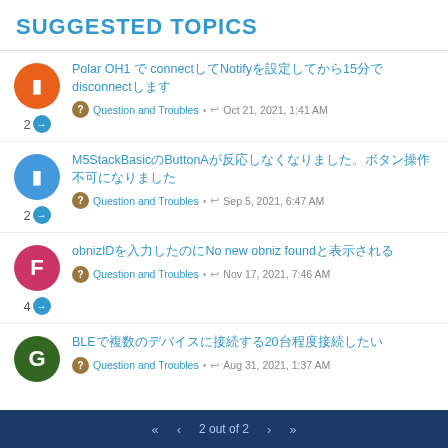SUGGESTED TOPICS
Polar OH1 で connectしてNotifyを設定してから15分でdisconnectします - Question and Troubles • Oct 21, 2021, 1:41 AM - 2 replies
M5StackBasicのButtonAが反応しなくなりました。ボタン操作不可になりました - Question and Troubles • Sep 5, 2021, 6:47 AM - 2 replies
obnizIDを入力したのにNo new obniz foundと表示される - Question and Troubles • Nov 17, 2021, 7:46 AM - 4 replies
BLEで複数のデバイスに接続する20台程度接続したい - Question and Troubles • Aug 31, 2021, 1:37 AM
2 out of 2